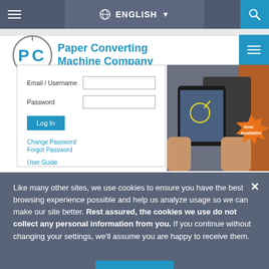ENGLISH — navigation header with hamburger menu and search icon
[Figure (logo): Paper Converting Machine Company logo — stylized PC letters in a circle with company name in blue text]
[Figure (screenshot): Photo of hands holding a tablet displaying augmented reality view of industrial machinery, with orange 'Now Available!' starburst badge]
Email / Username
Password
Log In
Change Password
Forgot Password
User Guide
Like many other sites, we use cookies to ensure you have the best browsing experience possible and help us analyze usage so we can make our site better. Rest assured, the cookies we use do not collect any personal information from you. If you continue without changing your settings, we'll assume you are happy to receive them.